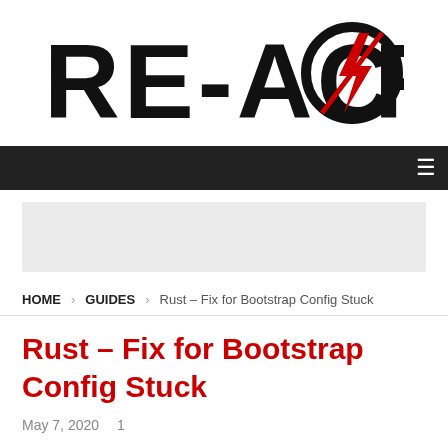[Figure (logo): RE-ACTOR logo with lightning bolt inside the letter O]
Navigation bar with hamburger menu icon
[Figure (other): Advertisement placeholder (light gray rectangle)]
HOME  GUIDES  Rust – Fix for Bootstrap Config Stuck
Rust – Fix for Bootstrap Config Stuck
May 7, 2020   1